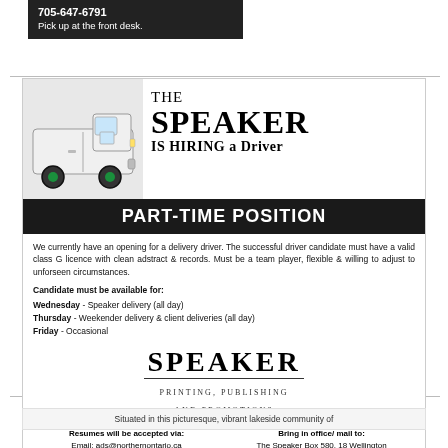[Figure (other): Dark background ad block showing phone number 705-647-6791 and text 'Pick up at the front desk.']
[Figure (infographic): The Speaker IS HIRING a Driver - PART-TIME POSITION advertisement with van image, job description, schedule, Speaker Printing Publishing and Promotions logo, and contact information.]
Situated in this picturesque, vibrant lakeside community of